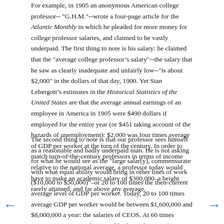For example, in 1905 an anonymous American college professor--"G.H.M."--wrote a four-page article for the Atlantic Monthly in which he pleaded for more money for college professor salaries, and claimed to be vastly underpaid. The first thing to note is his salary: he claimed that the "average college professor’s salary"--the salary that he saw as clearly inadequate and unfairly low--"is about $2,000" in the dollars of that day, 1900. Yet Stan Lebergott’s estimates in the Historical Statistics of the United States are that the average annual earnings of an employee in America in 1905 were $490 dollars if employed for the entire year (or $451 taking account of the hazards of unemployment): $2,000 was four times average of GDP per worker at the turn of the century. In order to match turn-of-the-century professors in terms of income relative to the national average, a professor today would have to make an academic salary of $300,000–a height rarely attained, and far above any average.
The second thing to note is that our professor sees himself as a reasonable and badly underpaid man. He is not asking for what he would see as the "large salar[y], commensurate with what equal ability would bring in other lines of work ($10,000 to $50,000)"–or 20 to 100 times the then-current average level of GDP per worker. Today, 20 to 100 times average GDP per worker would be between $1,600,000 and $8,000,000 a year: the salaries of CEOS. At 60 times average GDP per worker (roughly the mid-point of G.H.M.’s range, corresponding to a salary of $2.5 million a year), we are down to less than 45000 households in today’s United States.